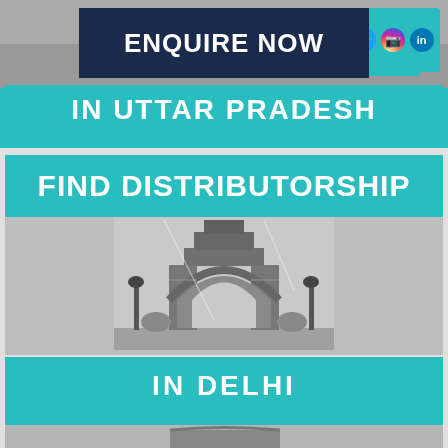[Figure (infographic): Promotional banner card for finding distributorship. Top section shows 'ENQUIRE NOW' in dark navy box with social media icons (Facebook, Twitter, Instagram, LinkedIn) on teal background, and 'IN UTTAR PRADESH' teal banner. Middle section shows 'FIND DISTRIBUTORSHIP' teal banner over grayscale image of India Gate, with 'IN DELHI' teal banner at bottom. Lower section shows another 'FIND DISTRIBUTORSHIP' teal banner with landmark below.]